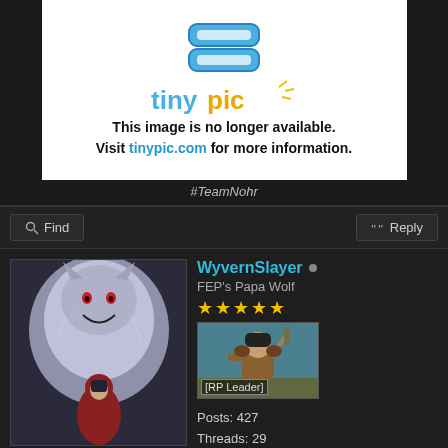[Figure (screenshot): Tinypic broken image placeholder showing logo and message: This image is no longer available. Visit tinypic.com for more information.]
#TeamNohr
Find   Reply
[Figure (photo): Forum user avatar showing anime-style artwork of a figure in a red cloak beside a large wolf creature]
WyvernSlayer
FEP's Papa Wolf
★★★★★
[RP Leader]
Posts: 427
Threads: 29
Joined: Jan 2014
Reputation: 2
06-26-2014, 07:37 AM   #9